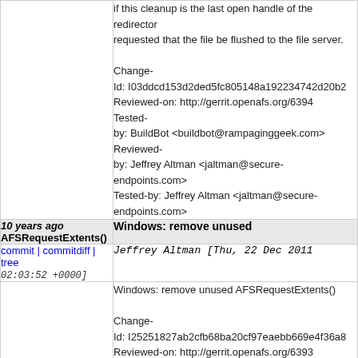if this cleanup is the last open handle of the redirector requested that the file be flushed to the file server.

Change-Id: I03ddcd153d2ded5fc805148a192234742d20b2
Reviewed-on: http://gerrit.openafs.org/6394
Tested-by: BuildBot <buildbot@rampaginggeek.com>
Reviewed-by: Jeffrey Altman <jaltman@secure-endpoints.com>
Tested-by: Jeffrey Altman <jaltman@secure-endpoints.com>
10 years ago AFSRequestExtents()
Windows: remove unused
commit | commitdiff | tree
02:03:52 +0000]
Jeffrey Altman [Thu, 22 Dec 2011
Windows: remove unused AFSRequestExtents()

Change-Id: I25251827ab2cfb68ba20cf97eaebb669e4f36a8
Reviewed-on: http://gerrit.openafs.org/6393
Tested-by: BuildBot <buildbot@rampaginggeek.com>
Reviewed-by: Peter Scott <pscott@kerneldrivers.com>
Reviewed-